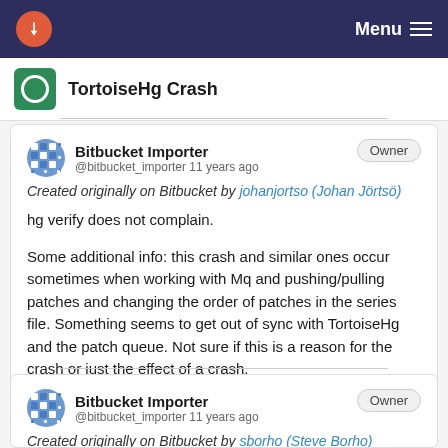TortoiseHg Crash  Menu
TortoiseHg Crash
Bitbucket Importer
@bitbucket_importer 11 years ago
Created originally on Bitbucket by johanjortso (Johan Jörtsö)

hg verify does not complain.

Some additional info: this crash and similar ones occur sometimes when working with Mq and pushing/pulling patches and changing the order of patches in the series file. Something seems to get out of sync with TortoiseHg and the patch queue. Not sure if this is a reason for the crash or just the effect of a crash.
Bitbucket Importer
@bitbucket_importer 11 years ago
Created originally on Bitbucket by sborho (Steve Borho)